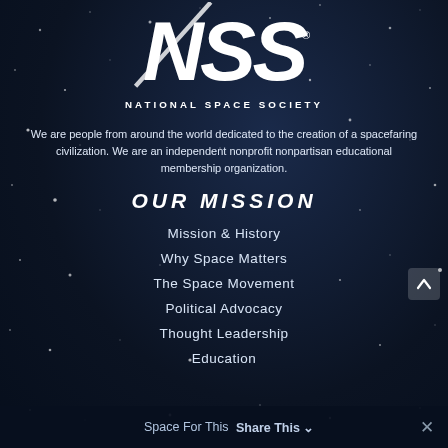[Figure (logo): NSS National Space Society logo — large white stylized 'NSS' letters with rocket/wing graphic, text 'NATIONAL SPACE SOCIETY' below]
We are people from around the world dedicated to the creation of a spacefaring civilization. We are an independent nonprofit nonpartisan educational membership organization.
OUR MISSION
Mission & History
Why Space Matters
The Space Movement
Political Advocacy
Thought Leadership
Education
Space For This   Share This ∨   ✕